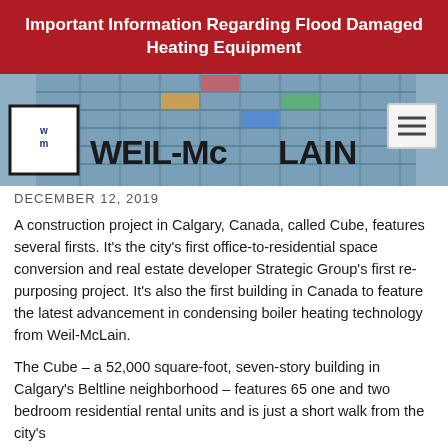Important Information Regarding Flood Damaged Heating Equipment
[Figure (photo): Exterior photo of the Cube building in Calgary with the Weil-McLain logo overlay and hamburger menu button]
DECEMBER 12, 2019
A construction project in Calgary, Canada, called Cube, features several firsts. It's the city's first office-to-residential space conversion and real estate developer Strategic Group's first re-purposing project. It's also the first building in Canada to feature the latest advancement in condensing boiler heating technology from Weil-McLain.
The Cube – a 52,000 square-foot, seven-story building in Calgary's Beltline neighborhood – features 65 one and two bedroom residential rental units and is just a short walk from the city's